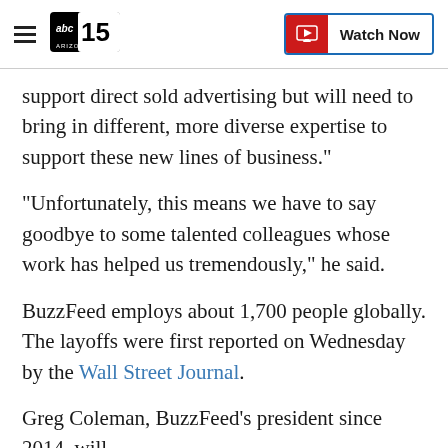abc15 Arizona — Watch Now
support direct sold advertising but will need to bring in different, more diverse expertise to support these new lines of business."
"Unfortunately, this means we have to say goodbye to some talented colleagues whose work has helped us tremendously," he said.
BuzzFeed employs about 1,700 people globally. The layoffs were first reported on Wednesday by the Wall Street Journal.
Greg Coleman, BuzzFeed's president since 2014, will